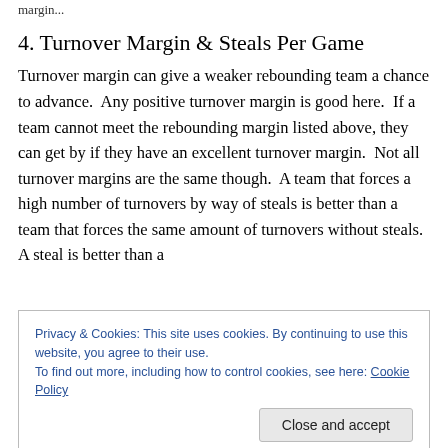margin...
4. Turnover Margin & Steals Per Game
Turnover margin can give a weaker rebounding team a chance to advance.  Any positive turnover margin is good here.  If a team cannot meet the rebounding margin listed above, they can get by if they have an excellent turnover margin.  Not all turnover margins are the same though.  A team that forces a high number of turnovers by way of steals is better than a team that forces the same amount of turnovers without steals.  A steal is better than a
Privacy & Cookies: This site uses cookies. By continuing to use this website, you agree to their use.
To find out more, including how to control cookies, see here: Cookie Policy
Close and accept
numbers advantage.